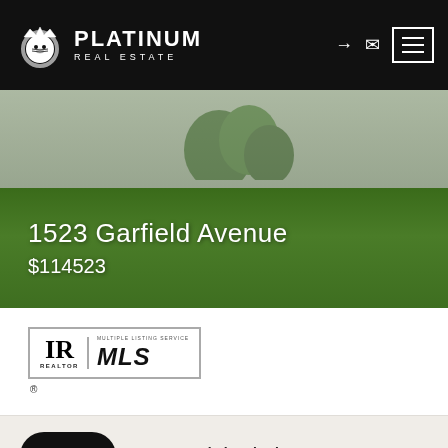Platinum Real Estate navigation bar with logo, login icon, mail icon, and hamburger menu
[Figure (photo): Exterior lawn and siding of a residential property at 1523 Garfield Avenue, showing green grass in foreground and light gray siding of house in background]
1523 Garfield Avenue
$114523
[Figure (logo): REALTOR MLS logo — box with IR symbol and REALTOR label on left, MULTIPLE LISTING SERVICE MLS italic bold text on right, with registered trademark dot]
Brunswick Listings Summary